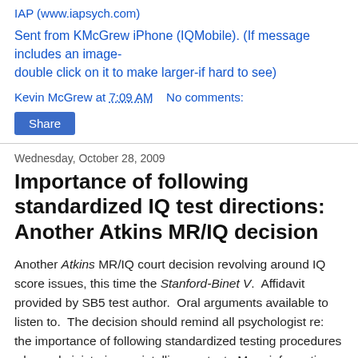IAP (www.iapsych.com)
Sent from KMcGrew iPhone (IQMobile). (If message includes an image- double click on it to make larger-if hard to see)
Kevin McGrew at 7:09 AM   No comments:
Share
Wednesday, October 28, 2009
Importance of following standardized IQ test directions: Another Atkins MR/IQ decision
Another Atkins MR/IQ court decision revolving around IQ score issues, this time the Stanford-Binet V. Affidavit provided by SB5 test author. Oral arguments available to listen to. The decision should remind all psychologist re: the importance of following standardized testing procedures when administering an intelligence test. More information at